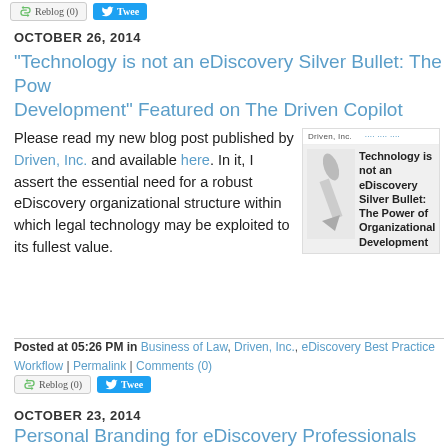[Figure (screenshot): Reblog and Tweet buttons at top of page]
OCTOBER 26, 2014
"Technology is not an eDiscovery Silver Bullet: The Power of Organizational Development" Featured on The Driven Copilot
Please read my new blog post published by Driven, Inc. and available here. In it, I assert the essential need for a robust eDiscovery organizational structure within which legal technology may be exploited to its fullest value.
[Figure (screenshot): Screenshot of Driven Inc. article titled Technology is not an eDiscovery Silver Bullet: The Power of Organizational Development]
Posted at 05:26 PM in Business of Law, Driven, Inc., eDiscovery Best Practices, Workflow | Permalink | Comments (0)
[Figure (screenshot): Reblog and Tweet buttons below post]
OCTOBER 23, 2014
Personal Branding for eDiscovery Professionals